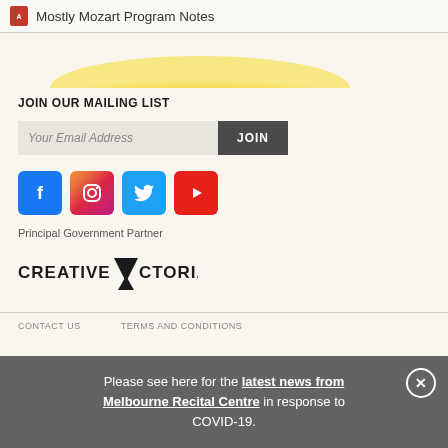Mostly Mozart Program Notes
[Figure (illustration): Stylized sunrise graphic with yellow and orange gradient arc on light background]
JOIN OUR MAILING LIST
Your Email Address  JOIN
[Figure (illustration): Social media icons: Facebook (blue), Instagram (gradient), Twitter (light blue), YouTube (red)]
Principal Government Partner
[Figure (logo): Creative Victoria logo with stylized downward-pointing triangle/V shape]
CONTACT US    TERMS AND CONDITIONS
Please see here for the latest news from Melbourne Recital Centre in response to COVID-19.